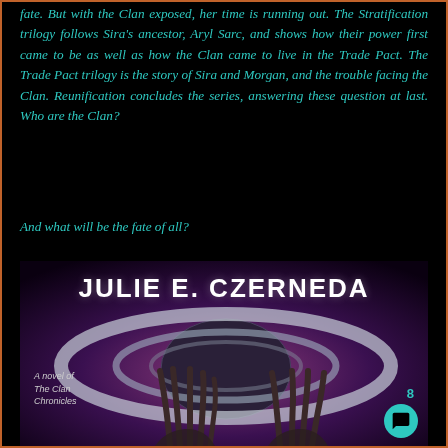fate. But with the Clan exposed, her time is running out. The Stratification trilogy follows Sira's ancestor, Aryl Sarc, and shows how their power first came to be as well as how the Clan came to live in the Trade Pact. The Trade Pact trilogy is the story of Sira and Morgan, and the trouble facing the Clan. Reunification concludes the series, answering these question at last. Who are the Clan?
And what will be the fate of all?
[Figure (illustration): Book cover of a novel by Julie E. Czerneda - 'A novel of The Clan Chronicles'. Shows a sci-fi scene with a large ringed spacecraft/station and alien hands reaching up against a purple/dark background. White bold text reads 'JULIE E. CZERNEDA'. Number 8 shown in teal. Chat bubble icon in teal circle at bottom right.]